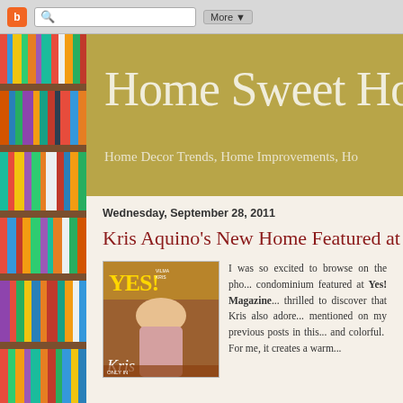[Figure (screenshot): Browser chrome bar with Blogger orange icon, search bar with magnifying glass, and More dropdown button]
[Figure (photo): Bookshelf with colorful book spines visible on the left sidebar]
Home Sweet Home
Home Decor Trends, Home Improvements, Ho...
Wednesday, September 28, 2011
Kris Aquino's New Home Featured at Y...
[Figure (photo): Cover of YES! Magazine featuring Kris Aquino]
I was so excited to browse on the pho... condominium featured at Yes! Magazine... thrilled to discover that Kris also adore... mentioned on my previous posts in this... and colorful. For me, it creates a warm...